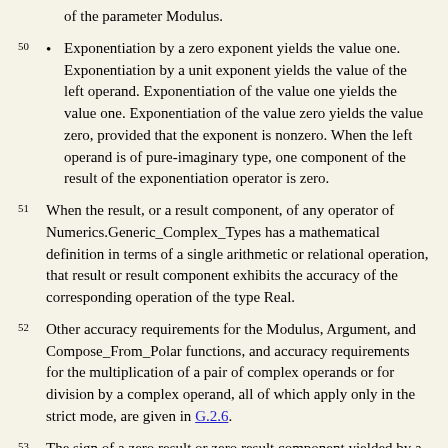of the parameter Modulus.
Exponentiation by a zero exponent yields the value one. Exponentiation by a unit exponent yields the value of the left operand. Exponentiation of the value one yields the value one. Exponentiation of the value zero yields the value zero, provided that the exponent is nonzero. When the left operand is of pure-imaginary type, one component of the result of the exponentiation operator is zero.
When the result, or a result component, of any operator of Numerics.Generic_Complex_Types has a mathematical definition in terms of a single arithmetic or relational operation, that result or result component exhibits the accuracy of the corresponding operation of the type Real.
Other accuracy requirements for the Modulus, Argument, and Compose_From_Polar functions, and accuracy requirements for the multiplication of a pair of complex operands or for division by a complex operand, all of which apply only in the strict mode, are given in G.2.6.
The sign of a zero result or zero result component yielded by a complex arithmetic operation or function is implementation